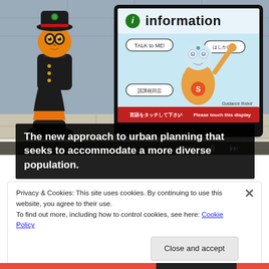[Figure (photo): Photo of a small humanoid robot in a black uniform and cap standing next to a kiosk screen showing an 'information' display with a guidance robot character. The screen reads 'TALK to ME!', 'はしかけて', '請課税回店', 'Guidance Robot', and '言語をタッチして下さい / Please touch this display'. A video player progress bar is visible at the bottom of the image.]
The new approach to urban planning that seeks to accommodate a more diverse population.
Privacy & Cookies: This site uses cookies. By continuing to use this website, you agree to their use.
To find out more, including how to control cookies, see here: Cookie Policy